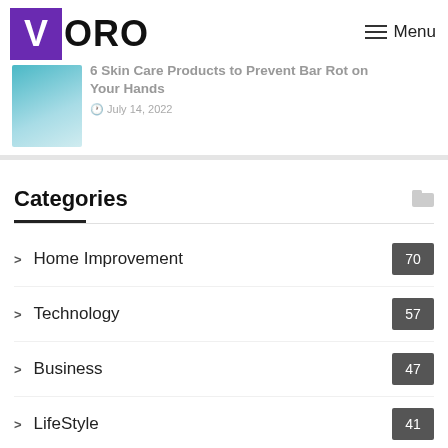VORO — Menu
[Figure (screenshot): Article preview thumbnail: blue-toned illustration of hands with skin care product]
6 Skin Care Products to Prevent Bar Rot on Your Hands
July 14, 2022
Categories
Home Improvement 70
Technology 57
Business 47
LifeStyle 41
How to 34
Repairs and Installation 44
Health 1
Kitchen 15